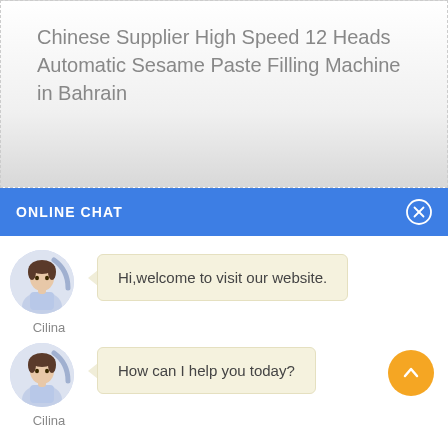Chinese Supplier High Speed 12 Heads Automatic Sesame Paste Filling Machine in Bahrain
ONLINE CHAT
Hi,welcome to visit our website.
Cilina
How can I help you today?
Cilina